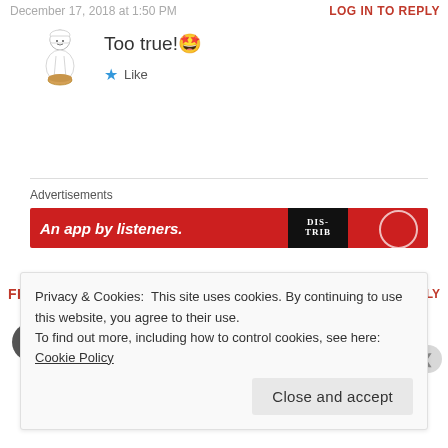December 17, 2018 at 1:50 PM
LOG IN TO REPLY
Too true!🤩
Like
Advertisements
[Figure (screenshot): Red advertisement banner with text 'An app by listeners.' and dark patch with 'DISTRIB' logo]
FRUGALHAUSFRAU
October 31, 2017 at 4:03 PM
LOG IN TO REPLY
Privacy & Cookies:  This site uses cookies. By continuing to use this website, you agree to their use.
To find out more, including how to control cookies, see here: Cookie Policy
Close and accept